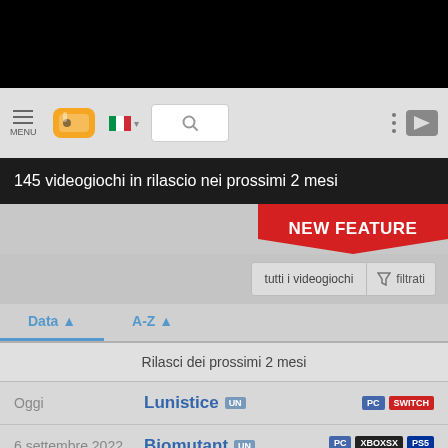[Figure (screenshot): Mobile app navigation bar with hamburger menu, orange logo, Italian flag, search box, and right-side icons]
145 videogiochi in rilascio nei prossimi 2 mesi
[Figure (infographic): NEW FEATURE badge/banner in red]
tutti i videogiochi | filtrati
Data ▲    A-Z ▲
Rilasci dei prossimi 2 mesi
Oggi — Lunistice UN — PC SWITCH
6 settembre 2022 — Biomutant UN — PC XBOXSX PS5 XBOXONE PS4